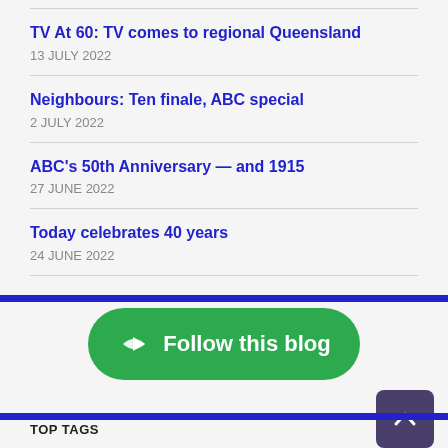TV At 60: TV comes to regional Queensland
13 JULY 2022
Neighbours: Ten finale, ABC special
2 JULY 2022
ABC's 50th Anniversary — and 1915
27 JUNE 2022
Today celebrates 40 years
24 JUNE 2022
[Figure (other): Green 'Follow this blog' button with arrow icon]
TOP TAGS